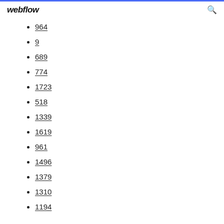webflow
964
9
689
774
1723
518
1339
1619
961
1496
1379
1310
1194